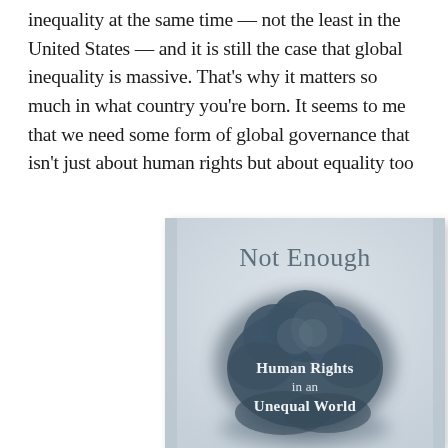inequality at the same time — not the least in the United States — and it is still the case that global inequality is massive. That's why it matters so much in what country you're born. It seems to me that we need some form of global governance that isn't just about human rights but about equality too
[Figure (photo): Book cover of 'Not Enough: Human Rights in an Unequal World' — a light grey/blue background with a dark blue-grey smoke cloud in the center, white serif text overlay reading 'Human Rights in an Unequal World']